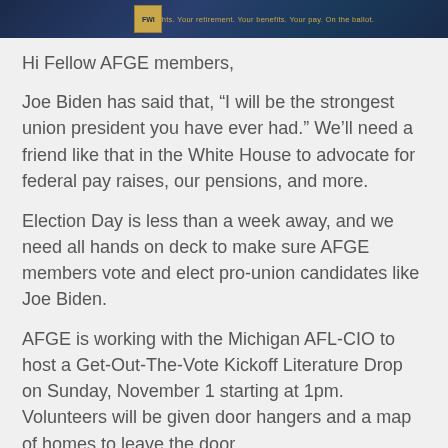[Figure (illustration): Dark blue banner with AFGE logo on left and tagline: Your rights. Your retirement. Your benefits. Your pay. On the ballot.]
Hi Fellow AFGE members,
Joe Biden has said that, “I will be the strongest union president you have ever had.” We’ll need a friend like that in the White House to advocate for federal pay raises, our pensions, and more.
Election Day is less than a week away, and we need all hands on deck to make sure AFGE members vote and elect pro-union candidates like Joe Biden.
AFGE is working with the Michigan AFL-CIO to host a Get-Out-The-Vote Kickoff Literature Drop on Sunday, November 1 starting at 1pm. Volunteers will be given door hangers and a map of homes to leave the door